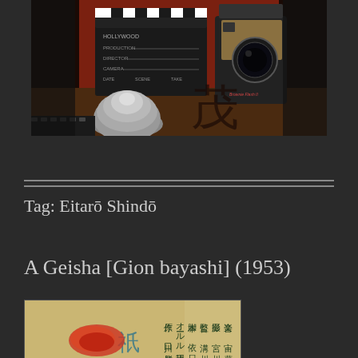[Figure (photo): A Hollywood clapperboard, vintage box camera, film reel, and a chrome dome bell arranged on a dark surface against a red wall background.]
Tag: Eitarō Shindō
A Geisha [Gion bayashi] (1953)
[Figure (photo): Japanese movie poster for A Geisha (Gion bayashi) 1953, showing Japanese text credits and decorative imagery.]